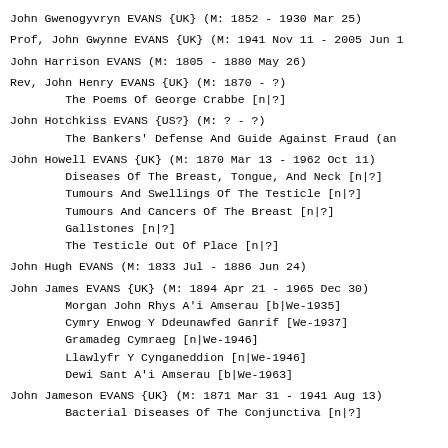John Gwenogyvryn EVANS {UK} (M: 1852 - 1930 Mar 25)
Prof, John Gwynne EVANS {UK} (M: 1941 Nov 11 - 2005 Jun 1
John Harrison EVANS (M: 1805 - 1880 May 26)
Rev, John Henry EVANS {UK} (M: 1870 - ?)
        The Poems Of George Crabbe [n|?]
John Hotchkiss EVANS {US?} (M: ? - ?)
        The Bankers' Defense And Guide Against Fraud (an
John Howell EVANS {UK} (M: 1870 Mar 13 - 1962 Oct 11)
        Diseases Of The Breast, Tongue, And Neck [n|?]
        Tumours And Swellings Of The Testicle [n|?]
        Tumours And Cancers Of The Breast [n|?]
        Gallstones [n|?]
        The Testicle Out Of Place [n|?]
John Hugh EVANS (M: 1833 Jul - 1886 Jun 24)
John James EVANS {UK} (M: 1894 Apr 21 - 1965 Dec 30)
        Morgan John Rhys A'i Amserau [b|We-1935]
        Cymry Enwog Y Ddeunawfed Ganrif [We-1937]
        Gramadeg Cymraeg [n|We-1946]
        Llawlyfr Y Cynganeddion [n|We-1946]
        Dewi Sant A'i Amserau [b|We-1963]
John Jameson EVANS {UK} (M: 1871 Mar 31 - 1941 Aug 13)
        Bacterial Diseases Of The Conjunctiva [n|?]